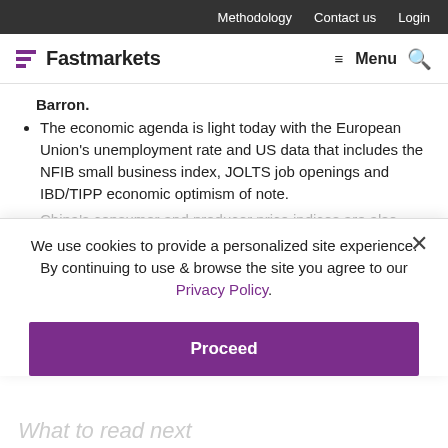Methodology  Contact us  Login
Fastmarkets  Menu
Barron.
The economic agenda is light today with the European Union's unemployment rate and US data that includes the NFIB small business index, JOLTS job openings and IBD/TIPP economic optimism of note.
China's consumer and producer price indices are also expected early on Wednesday morning.
We use cookies to provide a personalized site experience.
By continuing to use & browse the site you agree to our Privacy Policy.
Proceed
What to read next